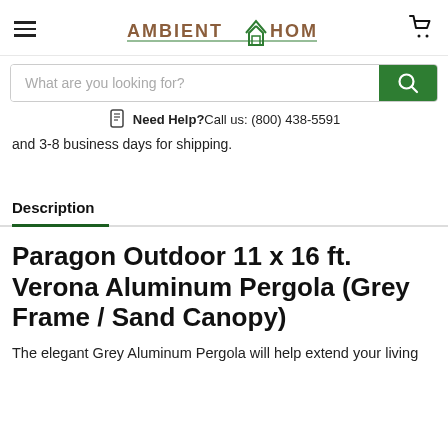AMBIENT HOME
What are you looking for?
Need Help? Call us: (800) 438-5591
and 3-8 business days for shipping.
Description
Paragon Outdoor 11 x 16 ft. Verona Aluminum Pergola (Grey Frame / Sand Canopy)
The elegant Grey Aluminum Pergola will help extend your living